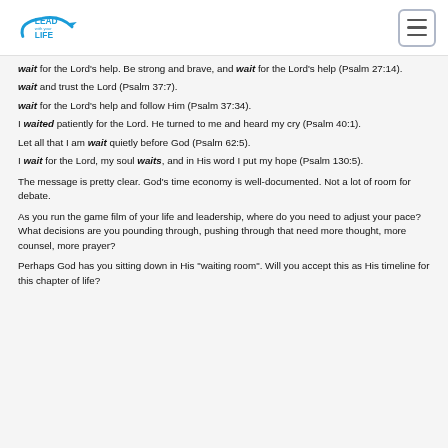Lead With Your Life
wait for the Lord's help. Be strong and brave, and wait for the Lord's help (Psalm 27:14).
wait and trust the Lord (Psalm 37:7).
wait for the Lord's help and follow Him (Psalm 37:34).
I waited patiently for the Lord. He turned to me and heard my cry (Psalm 40:1).
Let all that I am wait quietly before God (Psalm 62:5).
I wait for the Lord, my soul waits, and in His word I put my hope (Psalm 130:5).
The message is pretty clear. God's time economy is well-documented. Not a lot of room for debate.
As you run the game film of your life and leadership, where do you need to adjust your pace? What decisions are you pounding through, pushing through that need more thought, more counsel, more prayer?
Perhaps God has you sitting down in His "waiting room". Will you accept this as His timeline for this chapter of life?